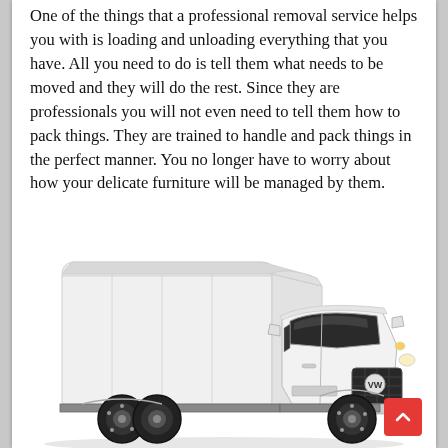One of the things that a professional removal service helps you with is loading and unloading everything that you have. All you need to do is tell them what needs to be moved and they will do the rest. Since they are professionals you will not even need to tell them how to pack things. They are trained to handle and pack things in the perfect manner. You no longer have to worry about how your delicate furniture will be managed by them.
[Figure (photo): A white Volkswagen box truck / luton van photographed against a white background, viewed from a front-left angle. The truck has a large white box body, a cab with dark windscreen, VW logo on the grille, and black side mirrors.]